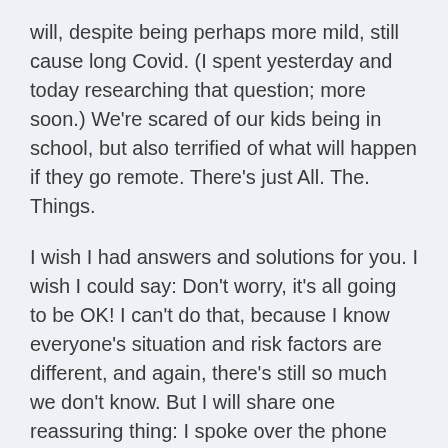will, despite being perhaps more mild, still cause long Covid. (I spent yesterday and today researching that question; more soon.) We're scared of our kids being in school, but also terrified of what will happen if they go remote. There's just All. The. Things.
I wish I had answers and solutions for you. I wish I could say: Don't worry, it's all going to be OK! I can't do that, because I know everyone's situation and risk factors are different, and again, there's still so much we don't know. But I will share one reassuring thing: I spoke over the phone today with the head of infection control at a major hospital network in South Africa, who told me that in her experience, Omicron is much, much milder than the previous variants. It's “completely different,” she said. “The symptoms are so mild. And most of the people are not symptomatic.”